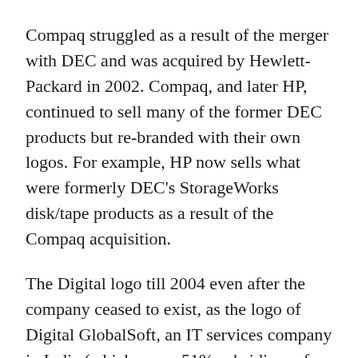Compaq struggled as a result of the merger with DEC and was acquired by Hewlett-Packard in 2002. Compaq, and later HP, continued to sell many of the former DEC products but re-branded with their own logos. For example, HP now sells what were formerly DEC's StorageWorks disk/tape products as a result of the Compaq acquisition.
The Digital logo till 2004 even after the company ceased to exist, as the logo of Digital GlobalSoft, an IT services company in India (which was a 51% subsidiary of Compaq). Digital GlobalSoft was later renamed "HP GlobalSoft" (also known as the "HP Global